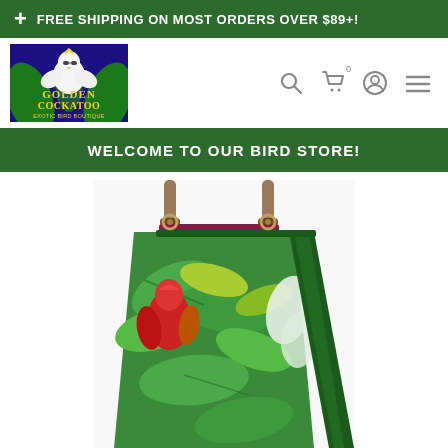+ FREE SHIPPING ON MOST ORDERS OVER $89+!
[Figure (logo): Golden Cockatoo Exotic Bird Boutique logo — white cockatoo with sunglasses and tropical leaves on dark blue background with yellow text]
WELCOME TO OUR BIRD STORE!
[Figure (photo): Close-up of a tropical bird-themed tent/hammock product with green jungle leaf fabric pattern, red parrot illustration, green trim edges, and hanging carabiner clips at top]